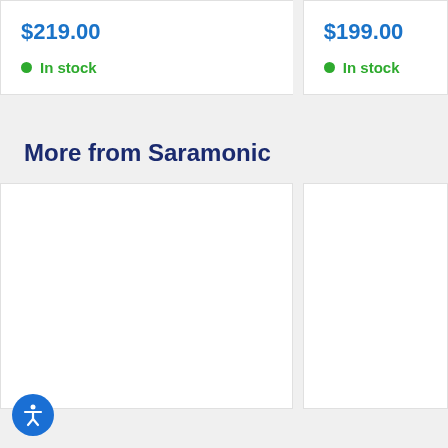$219.00
In stock
$199.00
In stock
More from Saramonic
[Figure (other): Product card placeholder (blank white card, left)]
[Figure (other): Product card placeholder (blank white card, right)]